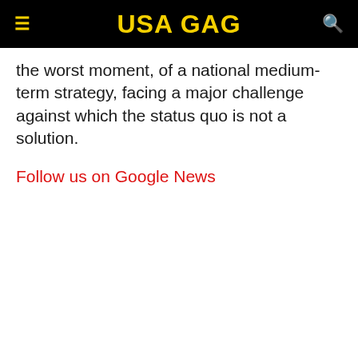USA GAG
the worst moment, of a national medium-term strategy, facing a major challenge against which the status quo is not a solution.
Follow us on Google News